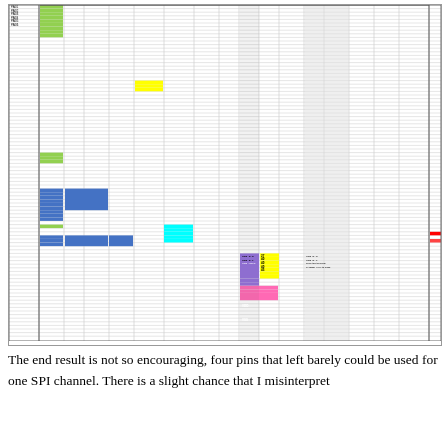[Figure (table-as-image): Large engineering pin/signal assignment table with colored cells indicating pin categories. Columns include pin numbers, signal names, directions, and notes. Color coding: green for power, blue for SPI/IO, yellow for specific pins, purple/pink for USB signals, orange for special functions. Contains many rows of microcontroller pin assignments.]
The end result is not so encouraging, four pins that left barely could be used for one SPI channel. There is a slight chance that I misinterpret